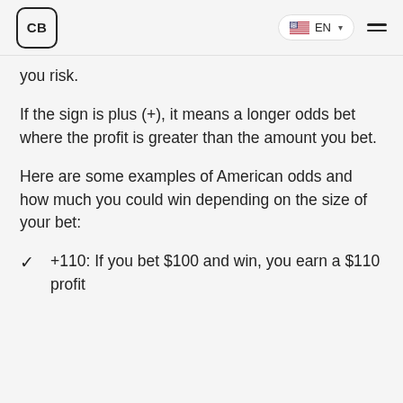CB | EN
you risk.
If the sign is plus (+), it means a longer odds bet where the profit is greater than the amount you bet.
Here are some examples of American odds and how much you could win depending on the size of your bet:
+110: If you bet $100 and win, you earn a $110 profit